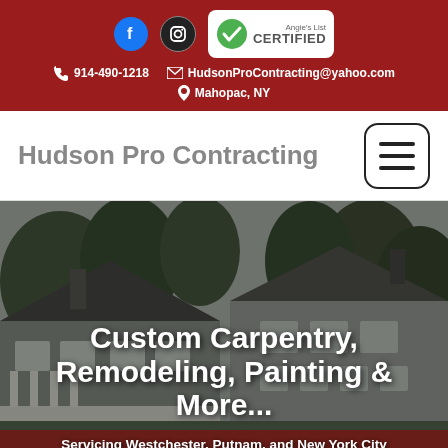914-490-1218 | HudsonProContracting@yahoo.com | Mahopac, NY
Hudson Pro Contracting
[Figure (photo): Photo of a large house with white columns and grey siding, surrounded by trees. Overlaid with bold text reading 'Custom Carpentry, Remodeling, Painting & More...' and subtitle 'Servicing Westchester, Putnam, and New York City']
Custom Carpentry, Remodeling, Painting & More...
Servicing Westchester, Putnam, and New York City